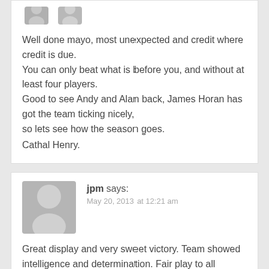[Figure (illustration): Two partial gray avatar icons at top of first comment]
Well done mayo, most unexpected and credit where credit is due.
You can only beat what is before you, and without at least four players.
Good to see Andy and Alan back, James Horan has got the team ticking nicely,
so lets see how the season goes.
Cathal Henry.
[Figure (illustration): Gray avatar icon for user jpm]
jpm says:
May 20, 2013 at 12:21 am
Great display and very sweet victory. Team showed intelligence and determination. Fair play to all involved. I hope the whole panel and backroom team enjoyed it. The supporters certainly did.